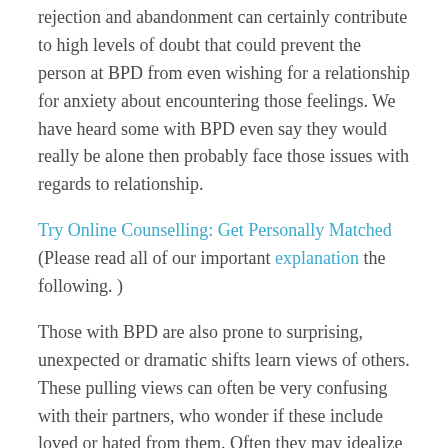rejection and abandonment can certainly contribute to high levels of doubt that could prevent the person at BPD from even wishing for a relationship for anxiety about encountering those feelings. We have heard some with BPD even say they would really be alone then probably face those issues with regards to relationship.
Try Online Counselling: Get Personally Matched (Please read all of our important explanation the following. )
Those with BPD are also prone to surprising, unexpected or dramatic shifts learn views of others. These pulling views can often be very confusing with their partners, who wonder if these include loved or hated from them. Often they may idealize their caregivers or popular partners and want to spend all their time with them, quickly become fitted, and share their deep consumer secrets early in the friendship — only to suddenly switch and devalue the person. They'll